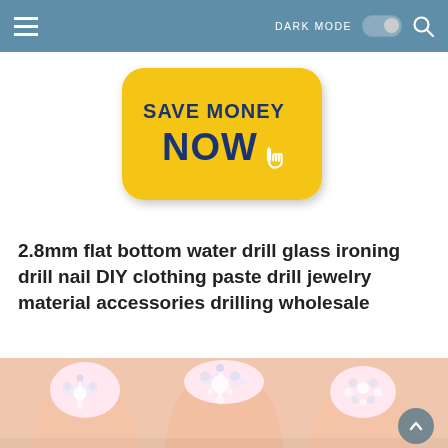≡  DARK MODE  🔍
[Figure (infographic): Yellow rounded rectangle button with text 'SAVE MONEY NOW' and a cursor pointer icon, on white background.]
2.8mm flat bottom water drill glass ironing drill nail DIY clothing paste drill jewelry material accessories drilling wholesale
[Figure (photo): Close-up photo of fingers with decorative rhinestone nail art, showing sparkling crystal/diamond nail decorations on painted nails.]